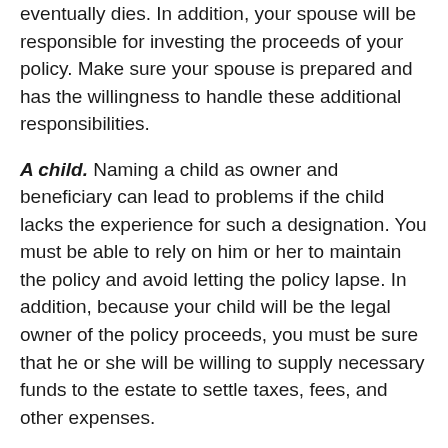eventually dies. In addition, your spouse will be responsible for investing the proceeds of your policy. Make sure your spouse is prepared and has the willingness to handle these additional responsibilities.
A child. Naming a child as owner and beneficiary can lead to problems if the child lacks the experience for such a designation. You must be able to rely on him or her to maintain the policy and avoid letting the policy lapse. In addition, because your child will be the legal owner of the policy proceeds, you must be sure that he or she will be willing to supply necessary funds to the estate to settle taxes, fees, and other expenses.
An irrevocable life insurance trust. An irrevocable life insurance trust (ILIT) can help avoid threats to your policy's proceeds. Because the designated trustee must manage the trust for your benefit, ILIT strategy helps ensure the availability of liquid funds when they are